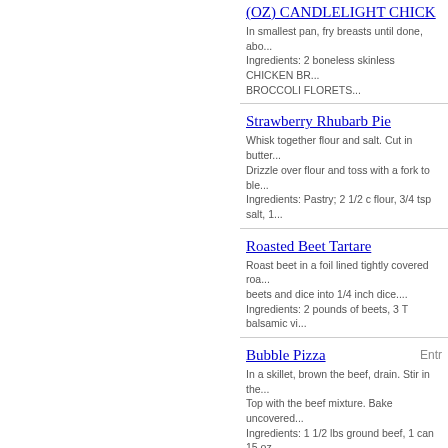(OZ) CANDLELIGHT CHICK... In smallest pan, fry breasts until done, abo... Ingredients: 2 boneless skinless CHICKEN BR... BROCCOLI FLORETS...
Strawberry Rhubarb Pie - Whisk together flour and salt. Cut in butter... Drizzle over flour and toss with a fork to ble... Ingredients: Pastry; 2 1/2 c flour, 3/4 tsp salt, 1...
Roasted Beet Tartare - Roast beet in a foil lined tightly covered roa... beets and dice into 1/4 inch dice.... Ingredients: 2 pounds of beets, 3 T balsamic vi...
Bubble Pizza - Entree - In a skillet, brown the beef, drain. Stir in the... Top with the beef mixture. Bake uncovered... Ingredients: 1 1/2 lbs ground beef, 1 can 15 oz... mozerrella cheese...
Beef Pasties - Entree - In a bowl, combine the first nine ingredients... 8in circle. Mound 1 cup filling on half of the... Ingredients: 2 cups cubed cooked roast beef, 1...
Speedy Brownies - In a mixing bowl, combine the first seven i... with chocolate chips. Bake at 350 for 30 m... Ingredients: 2 cups sugar, 1 3/4 cups all purpos...